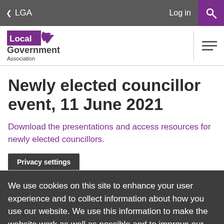< LGA   Log in   🔍
[Figure (logo): Local Government Association logo with stylised flame icon]
Newly elected councillor event, 11 June 2021
Download the presentations and access resources for newly elected councillors.
Privacy settings
We use cookies on this site to enhance your user experience and to collect information about how you use our website. We use this information to make the website work as well as possible and to improve our